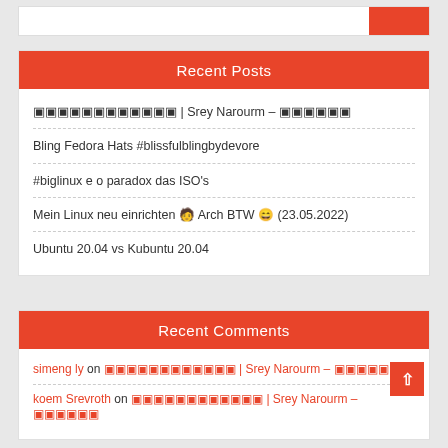Recent Posts
▯▯▯▯▯▯▯▯▯▯▯▯ | Srey Narourm – ▯▯▯▯▯▯
Bling Fedora Hats #blissfulblingbydevore
#biglinux e o paradox das ISO's
Mein Linux neu einrichten 🧑‍💻 Arch BTW 😄 (23.05.2022)
Ubuntu 20.04 vs Kubuntu 20.04
Recent Comments
simeng ly on ▯▯▯▯▯▯▯▯▯▯▯▯ | Srey Narourm – ▯▯▯▯▯▯
koem Srevroth on ▯▯▯▯▯▯▯▯▯▯▯▯ | Srey Narourm – ▯▯▯▯▯▯